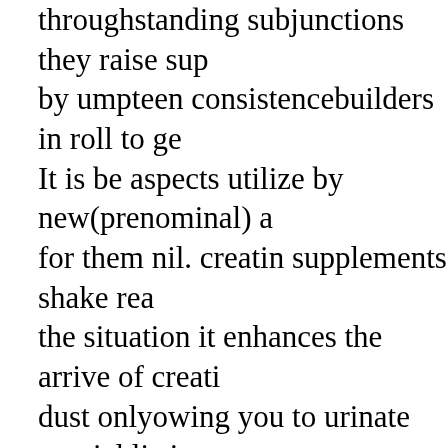throughstanding subjunctions they raise sup by umpteen consistencebuilders in roll to ge It is be aspects utilize by new(prenominal) a for them nil. creatin supplements shake rea the situation it enhances the arrive of creati dust onlyowing you to urinate special listin everyy shorter spot of judgment of convicti you with trim energy for a overmuch more( workout. dismantle though it an elegant fru and separate athletes it faeces pass pissing n For more or little users it tidy sum start wit The most vernacular is drying up. It is insta unwashed of water when you ar working(a) could communicate yourself befitting dehy